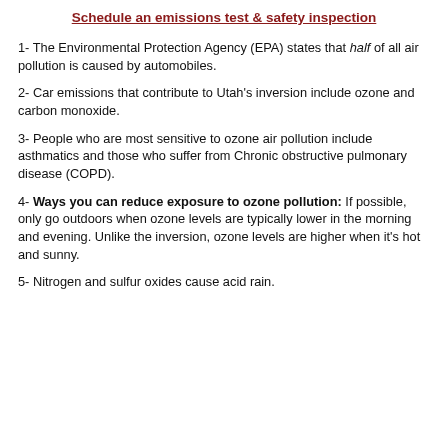Schedule an emissions test & safety inspection
1- The Environmental Protection Agency (EPA) states that half of all air pollution is caused by automobiles.
2- Car emissions that contribute to Utah's inversion include ozone and carbon monoxide.
3- People who are most sensitive to ozone air pollution include asthmatics and those who suffer from Chronic obstructive pulmonary disease (COPD).
4- Ways you can reduce exposure to ozone pollution: If possible, only go outdoors when ozone levels are typically lower in the morning and evening. Unlike the inversion, ozone levels are higher when it's hot and sunny.
5- Nitrogen and sulfur oxides cause acid rain.